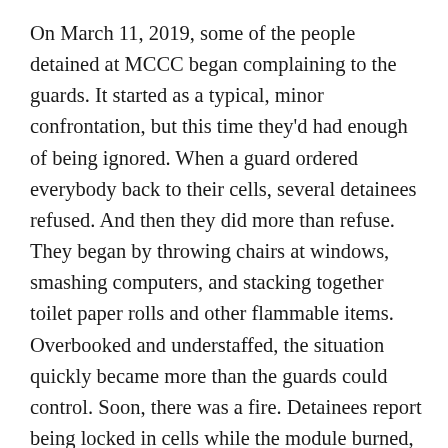On March 11, 2019, some of the people detained at MCCC began complaining to the guards. It started as a typical, minor confrontation, but this time they'd had enough of being ignored. When a guard ordered everybody back to their cells, several detainees refused. And then they did more than refuse. They began by throwing chairs at windows, smashing computers, and stacking together toilet paper rolls and other flammable items. Overbooked and understaffed, the situation quickly became more than the guards could control. Soon, there was a fire. Detainees report being locked in cells while the module burned, their guards nowhere to be seen. Fire sprinklers worked only sporadically. Smoke filled the cells, blindingly thick. Sam said he was able to escape to an outdoor recreational area, but when he and several